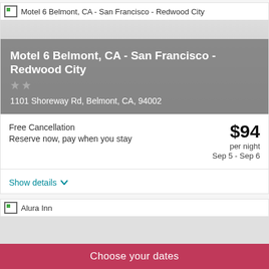[Figure (photo): Hotel image placeholder for Motel 6 Belmont, CA - San Francisco - Redwood City with broken image icon and text label at top]
Motel 6 Belmont, CA - San Francisco - Redwood City
1101 Shoreway Rd, Belmont, CA, 94002
Free Cancellation
Reserve now, pay when you stay
$94 per night
Sep 5 - Sep 6
Show details
[Figure (photo): Hotel image placeholder for Alura Inn]
Choose your dates